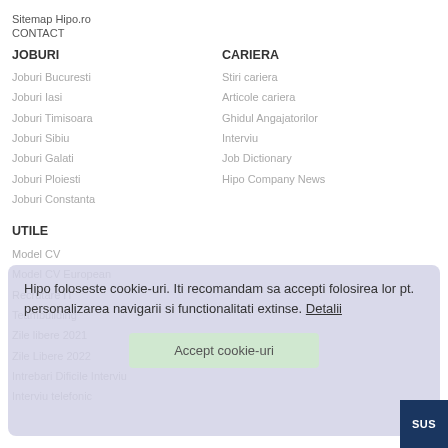Sitemap Hipo.ro
CONTACT
JOBURI
Joburi Bucuresti
Joburi Iasi
Joburi Timisoara
Joburi Sibiu
Joburi Galati
Joburi Ploiesti
Joburi Constanta
CARIERA
Stiri cariera
Articole cariera
Ghidul Angajatorilor
Interviu
Job Dictionary
Hipo Company News
UTILE
Model CV
Model CV European
Recrutare IT
Teambuilding
Zile libere 2021
Zile Libere 2022
Intrebari Dificile Interviu
Interviu telefonic
Hipo foloseste cookie-uri. Iti recomandam sa accepti folosirea lor pt. personalizarea navigarii si functionalitati extinse. Detalii
Accept cookie-uri
SUS